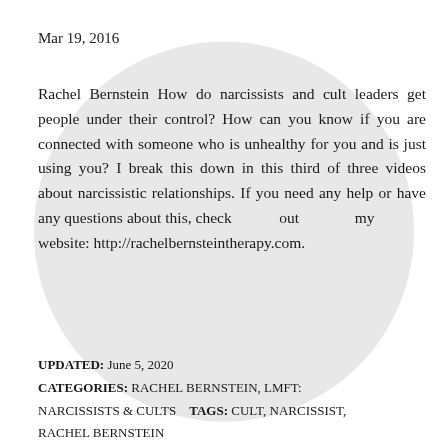Mar 19, 2016
Rachel Bernstein How do narcissists and cult leaders get people under their control? How can you know if you are connected with someone who is unhealthy for you and is just using you? I break this down in this third of three videos about narcissistic relationships. If you need any help or have any questions about this, check out my website: http://rachelbernsteintherapy.com.
UPDATED: June 5, 2020
CATEGORIES: RACHEL BERNSTEIN, LMFT: NARCISSISTS & CULTS    TAGS: CULT, NARCISSIST, RACHEL BERNSTEIN